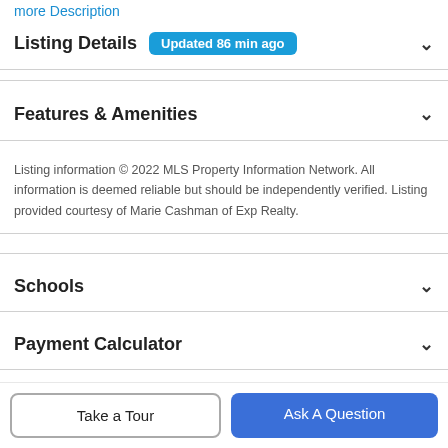more Description
Listing Details
Features & Amenities
Listing information © 2022 MLS Property Information Network. All information is deemed reliable but should be independently verified. Listing provided courtesy of Marie Cashman of Exp Realty.
Schools
Payment Calculator
Contact Agent
Take a Tour
Ask A Question